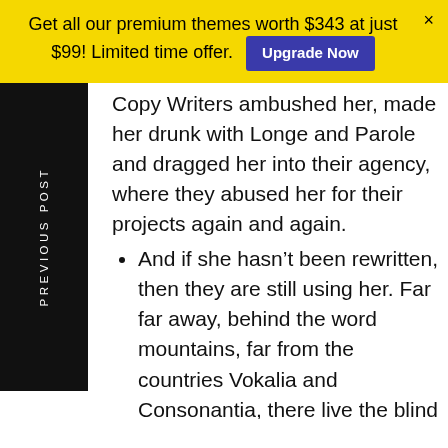Get all our premium themes worth $343 at just $99! Limited time offer. Upgrade Now ×
Copy Writers ambushed her, made her drunk with Longe and Parole and dragged her into their agency, where they abused her for their projects again and again.
And if she hasn't been rewritten, then they are still using her. Far far away, behind the word mountains, far from the countries Vokalia and Consonantia, there live the blind texts.
Separated they live in Bookmarks grove right at the coast of the Semantics, a large language ocean.
A small river named Duden flows by their place and supplies it with the necessary regelialia. It is a paradisematic country, in